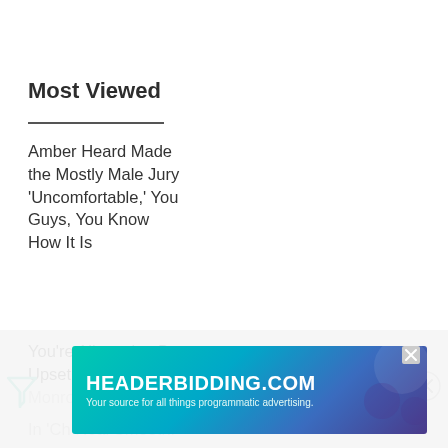Most Viewed
Amber Heard Made the Mostly Male Jury 'Uncomfortable,' You Guys, You Know How It Is
You're Allowed to Be Upset About Marilyn Monroe In 'Blonde,' Real Smooth.'
[Figure (other): HEADERBIDDING.COM advertisement banner with tagline 'Your source for all things programmatic advertising.' with teal/blue gradient background and geometric pattern]